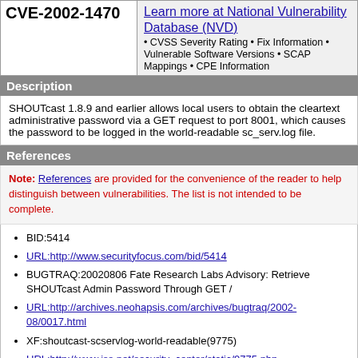| CVE-ID | NVD Info |
| --- | --- |
| CVE-2002-1470 | Learn more at National Vulnerability Database (NVD)
• CVSS Severity Rating • Fix Information • Vulnerable Software Versions • SCAP Mappings • CPE Information |
Description
SHOUTcast 1.8.9 and earlier allows local users to obtain the cleartext administrative password via a GET request to port 8001, which causes the password to be logged in the world-readable sc_serv.log file.
References
Note: References are provided for the convenience of the reader to help distinguish between vulnerabilities. The list is not intended to be complete.
BID:5414
URL:http://www.securityfocus.com/bid/5414
BUGTRAQ:20020806 Fate Research Labs Advisory: Retrieve SHOUTcast Admin Password Through GET /
URL:http://archives.neohapsis.com/archives/bugtraq/2002-08/0017.html
XF:shoutcast-scservlog-world-readable(9775)
URL:http://www.iss.net/security_center/static/9775.php